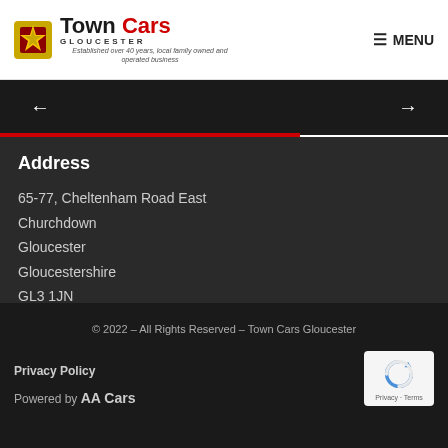Town Cars Gloucester – Established over 40 years, local family owned and operated business | MENU
[Figure (infographic): Navigation arrows banner – left arrow and right arrow on dark background]
Address
65-77, Cheltenham Road East
Churchdown
Gloucester
Gloucestershire
GL3 1JN
01452 856 234
d.hawkins@town-cars.com
© 2022 – All Rights Reserved – Town Cars Gloucester
Privacy Policy
Powered by AA Cars